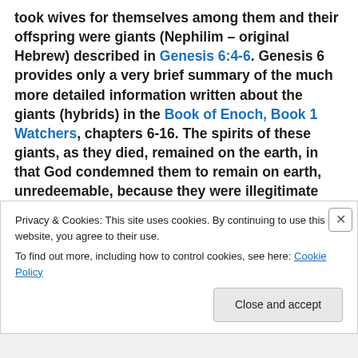took wives for themselves among them and their offspring were giants (Nephilim – original Hebrew) described in Genesis 6:4-6. Genesis 6 provides only a very brief summary of the much more detailed information written about the giants (hybrids) in the Book of Enoch, Book 1 Watchers, chapters 6-16. The spirits of these giants, as they died, remained on the earth, in that God condemned them to remain on earth, unredeemable, because they were illegitimate hybrids; thus there are evil spirits in the world causing havoc, even to this day (Enoch 15).
Privacy & Cookies: This site uses cookies. By continuing to use this website, you agree to their use.
To find out more, including how to control cookies, see here: Cookie Policy